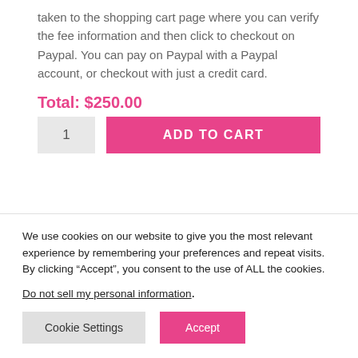taken to the shopping cart page where you can verify the fee information and then click to checkout on Paypal. You can pay on Paypal with a Paypal account, or checkout with just a credit card.
Total: $250.00
We use cookies on our website to give you the most relevant experience by remembering your preferences and repeat visits. By clicking “Accept”, you consent to the use of ALL the cookies.
Do not sell my personal information.